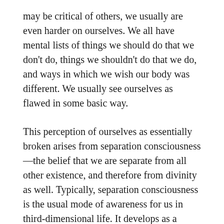may be critical of others, we usually are even harder on ourselves. We all have mental lists of things we should do that we don't do, things we shouldn't do that we do, and ways in which we wish our body was different. We usually see ourselves as flawed in some basic way.
This perception of ourselves as essentially broken arises from separation consciousness—the belief that we are separate from all other existence, and therefore from divinity as well. Typically, separation consciousness is the usual mode of awareness for us in third-dimensional life. It develops as a result of our physical mind's (ego's) experience in a physical body. It generates feelings of mistrust, anger, disillusionment, frustration and disappointment in us—both with others and with ourselves.
As long as we view ourselves as essentially inadequate